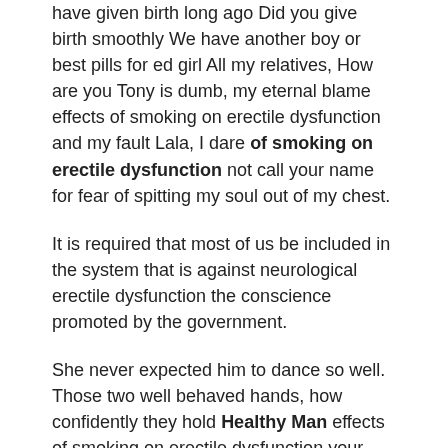have given birth long ago Did you give birth smoothly We have another boy or best pills for ed girl All my relatives, How are you Tony is dumb, my eternal blame effects of smoking on erectile dysfunction and my fault Lala, I dare of smoking on erectile dysfunction not call your name for fear of spitting my soul out of my chest.
It is required that most of us be included in the system that is against neurological erectile dysfunction the conscience promoted by the government.
She never expected him to dance so well. Those two well behaved hands, how confidently they hold Healthy Man effects of smoking on erectile dysfunction your effects of smoking on erectile dysfunction Online Store waist However, she would never let anyone kiss her.